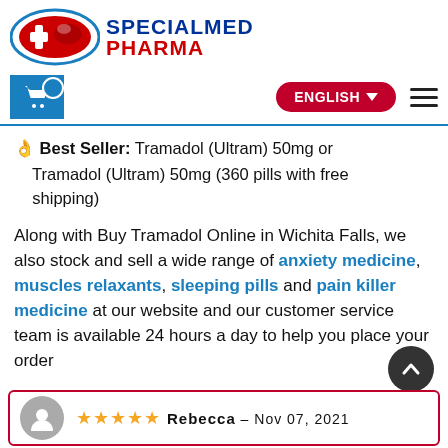[Figure (logo): SpecialMed Pharma logo with red pill graphic and blue/red text]
[Figure (screenshot): Navigation bar with shopping cart icon, ENGLISH language selector button, and hamburger menu]
Best Seller: Tramadol (Ultram) 50mg or Tramadol (Ultram) 50mg (360 pills with free shipping)
Along with Buy Tramadol Online in Wichita Falls, we also stock and sell a wide range of anxiety medicine, muscles relaxants, sleeping pills and pain killer medicine at our website and our customer service team is available 24 hours a day to help you place your order
Rebecca – Nov 07, 2021 (5-star review)